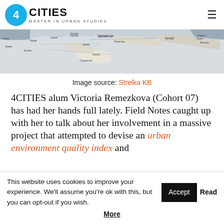4CITIES MASTER IN URBAN STUDIES
[Figure (map): Greyscale world map showing Middle East, Central Asia, China region with Cyrillic/Russian language labels]
Image source: Strelka KB
4CITIES alum Victoria Remezkova (Cohort 07) has had her hands full lately. Field Notes caught up with her to talk about her involvement in a massive project that attempted to devise an urban environment quality index and
This website uses cookies to improve your experience. We'll assume you're ok with this, but you can opt-out if you wish. Accept Read More